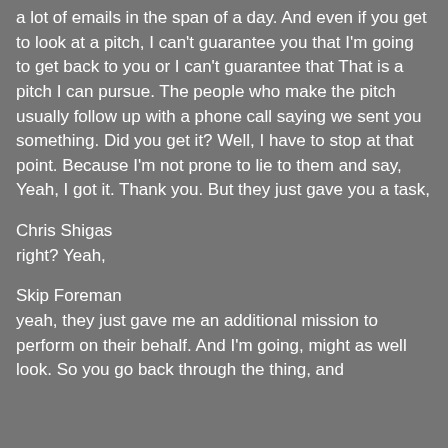a lot of emails in the span of a day. And even if you get to look at a pitch, I can't guarantee you that I'm going to get back to you or I can't guarantee that That is a pitch I can pursue. The people who make the pitch usually follow up with a phone call saying we sent you something. Did you get it? Well, I have to stop at that point. Because I'm not prone to lie to them and say, Yeah, I got it. Thank you. But they just gave you a task,
Chris Shigas
right? Yeah,
Skip Foreman
yeah, they just gave me an additional mission to perform on their behalf. And I'm going, might as well look. So you go back through the thing, and